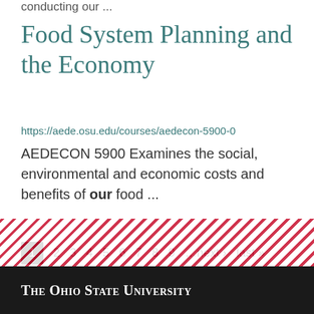conducting our ...
Food System Planning and the Economy
https://aede.osu.edu/courses/aedecon-5900-0
AEDECON 5900 Examines the social, environmental and economic costs and benefits of our food ...
1 2 3 4 5 6 7 8 9 …next › last »
[Figure (illustration): Diagonal red and white stripe decorative band]
The Ohio State University